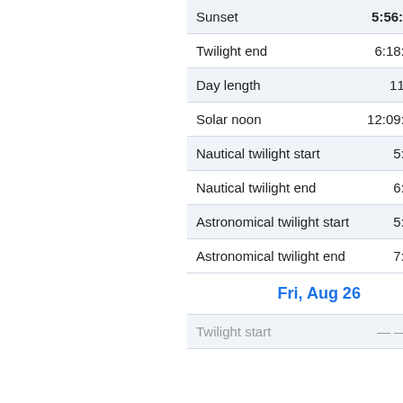| Label | Value |
| --- | --- |
| Sunset | 5:56:45 pm |
| Twilight end | 6:18:12 pm |
| Day length | 11:34:47 |
| Solar noon | 12:09:21 pm |
| Nautical twilight start | 5:34 am |
| Nautical twilight end | 6:44 pm |
| Astronomical twilight start | 5:08 am |
| Astronomical twilight end | 7:10 pm |
| Fri, Aug 26 |  |
| Twilight start | — —:— — |